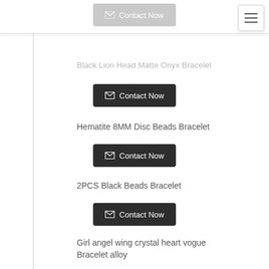[Figure (screenshot): Top navigation bar with a faded 'Contact Now' button (dark rounded rectangle) on left-center, and a hamburger menu icon button in the top-right corner.]
Black Lion Head Matte Onyx Bracelet
Contact Now
Hematite 8MM Disc Beads Bracelet
Contact Now
2PCS Black Beads Bracelet
Contact Now
Girl angel wing crystal heart vogue Bracelet alloy
Contact Now
Golden 8 character pendant lady's foot chain Beach
Contact Now